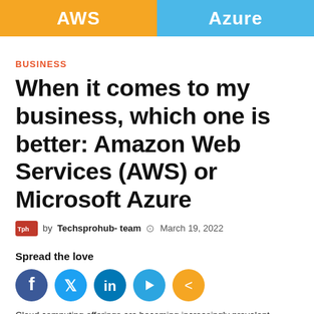[Figure (infographic): Header banner split into two halves: left orange 'AWS', right blue 'Azure']
BUSINESS
When it comes to my business, which one is better: Amazon Web Services (AWS) or Microsoft Azure
by Techsprohub- team  March 19, 2022
Spread the love
[Figure (infographic): Social sharing icons: Facebook (blue), Twitter (light blue), LinkedIn (dark blue), Telegram (blue), Share (orange)]
Cloud computing offerings are becoming increasingly prevalent